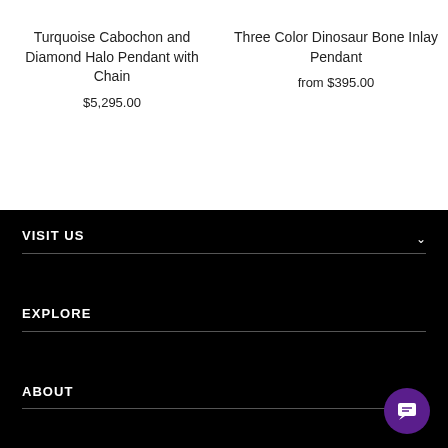Turquoise Cabochon and Diamond Halo Pendant with Chain
$5,295.00
Three Color Dinosaur Bone Inlay Pendant
from $395.00
VISIT US
EXPLORE
ABOUT